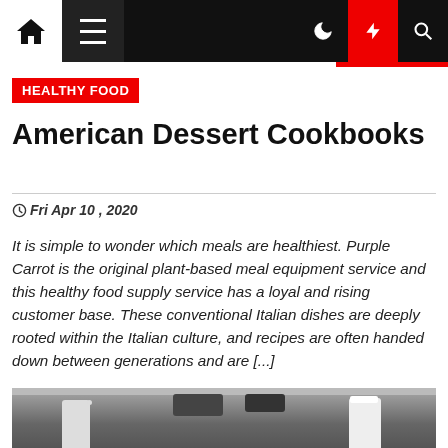Navigation bar with home, menu, moon, bolt, and search icons
HEALTHY FOOD
American Dessert Cookbooks
Fri Apr 10 , 2020
It is simple to wonder which meals are healthiest. Purple Carrot is the original plant-based meal equipment service and this healthy food supply service has a loyal and rising customer base. These conventional Italian dishes are deeply rooted within the Italian culture, and recipes are often handed down between generations and are [...]
[Figure (photo): Kitchen scene with chefs in white uniforms and hats working around cooking equipment and pots]